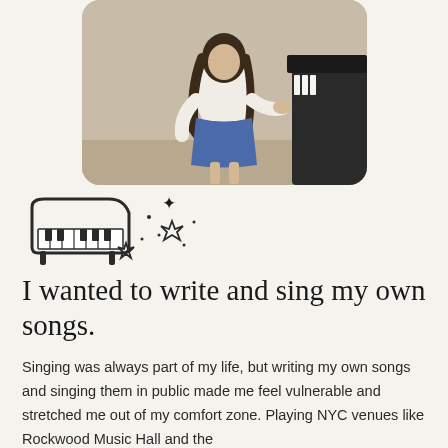[Figure (photo): A young girl with long hair wearing a white top and blue skirt, standing near a piano]
[Figure (illustration): Hand-drawn piano icon with decorative stars and sparkles around it]
I wanted to write and sing my own songs.
Singing was always part of my life, but writing my own songs and singing them in public made me feel vulnerable and stretched me out of my comfort zone. Playing NYC venues like Rockwood Music Hall and the